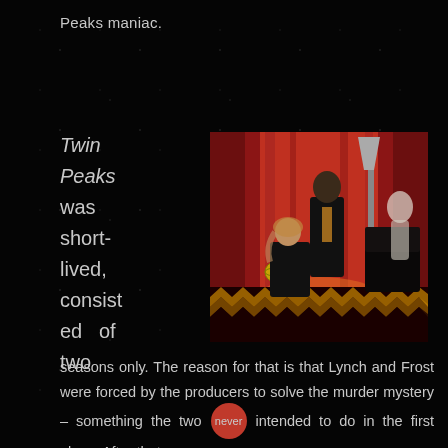Peaks maniac.
Twin Peaks was short-lived, consisted of two
[Figure (photo): A scene from Twin Peaks showing two figures against red curtains with a floor lamp and zigzag patterned floor]
seasons only. The reason for that is that Lynch and Frost were forced by the producers to solve the murder mystery – something the two never intended to do in the first place. After that a